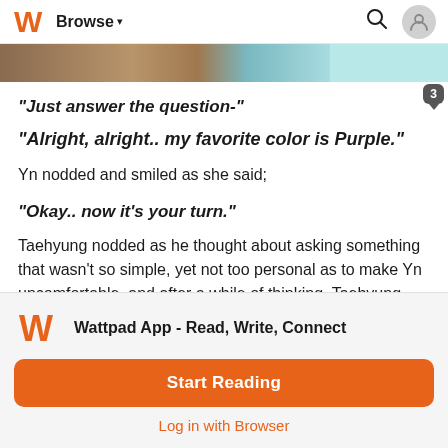Browse
[Figure (photo): Partial image banner showing a person with a teal/cyan background strip on the right]
"Just answer the question-"
"Alright, alright.. my favorite color is Purple."
Yn nodded and smiled as she said;
"Okay.. now it's your turn."
Taehyung nodded as he thought about asking something that wasn't so simple, yet not too personal as to make Yn uncomfortable, and after a while of thinking, Taehyung finally
Wattpad App - Read, Write, Connect
Start Reading
Log in with Browser